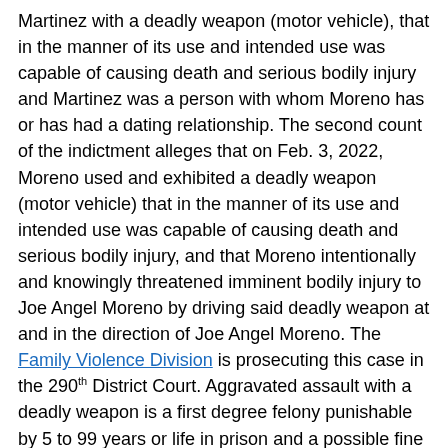Martinez with a deadly weapon (motor vehicle), that in the manner of its use and intended use was capable of causing death and serious bodily injury and Martinez was a person with whom Moreno has or has had a dating relationship. The second count of the indictment alleges that on Feb. 3, 2022, Moreno used and exhibited a deadly weapon (motor vehicle) that in the manner of its use and intended use was capable of causing death and serious bodily injury, and that Moreno intentionally and knowingly threatened imminent bodily injury to Joe Angel Moreno by driving said deadly weapon at and in the direction of Joe Angel Moreno. The Family Violence Division is prosecuting this case in the 290th District Court. Aggravated assault with a deadly weapon is a first degree felony punishable by 5 to 99 years or life in prison and a possible fine of up to $10,000
An indictment is not a finding of guilt. A person charged by indictment is presumed innocent until found guilty beyond a reasonable doubt by a jury or a judge. Because these and potentially other cases are either pending or may be under investigation, we can make no further comment on the...